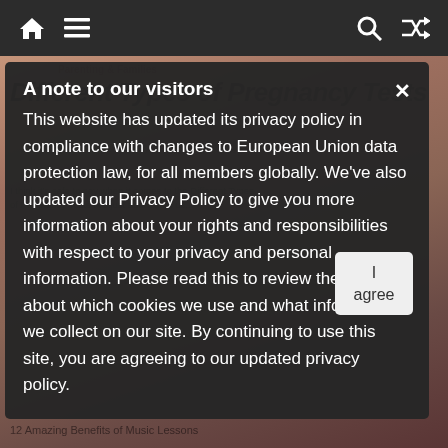Navigation bar with home, menu, search, and shuffle icons
[Figure (screenshot): Website background showing a cropped image of a hand, overlaid article text about pregnancy tests and music lessons, partially visible behind modal]
A note to our visitors
This website has updated its privacy policy in compliance with changes to European Union data protection law, for all members globally. We've also updated our Privacy Policy to give you more information about your rights and responsibilities with respect to your privacy and personal information. Please read this to review the updates about which cookies we use and what information we collect on our site. By continuing to use this site, you are agreeing to our updated privacy policy.